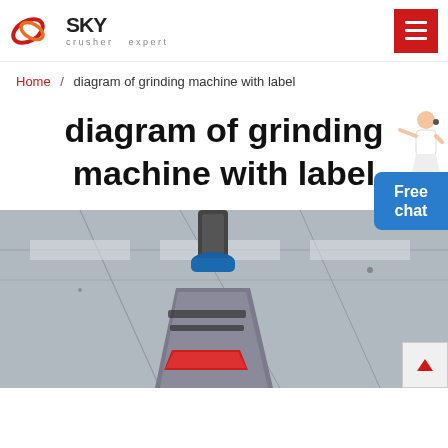SKY crusher expert — navigation header with logo and menu button
Home / diagram of grinding machine with label
diagram of grinding machine with label
[Figure (photo): Industrial grinding machine photographed from below, showing the cone crusher head with red and blue components, inside a factory building with steel roof structure visible in background.]